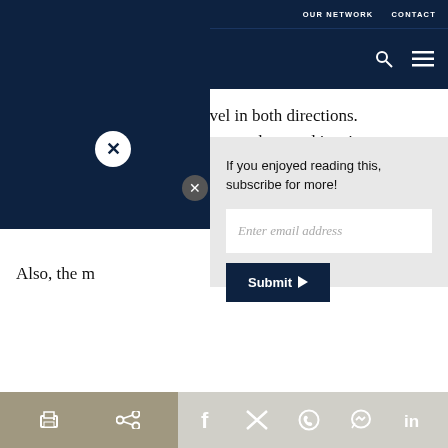OUR NETWORK   CONTACT
[Figure (logo): Carnegie Europe logo with circular icon and text CARNEGIE EUROPE on dark navy background, with search and hamburger menu icons on the right]
street; member states can travel in both directions. Britain’s move may indeed tempt others and inspire more à la… issues tha… Also, the m…
If you enjoyed reading this, subscribe for more!
Enter email address
Submit